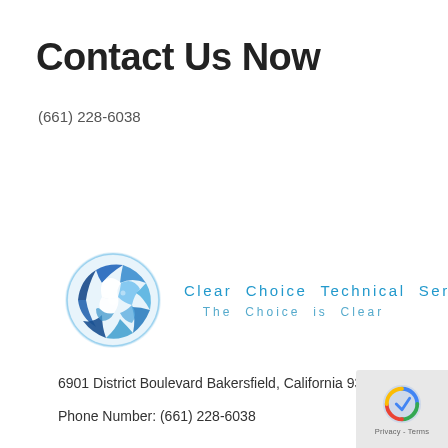Contact Us Now
(661) 228-6038
[Figure (logo): Clear Choice Technical Services logo: puzzle-piece globe in blue tones on left, company name 'Clear Choice Technical Services' and tagline 'The Choice is Clear' in blue text on right]
6901 District Boulevard Bakersfield, California 93313
Phone Number: (661) 228-6038